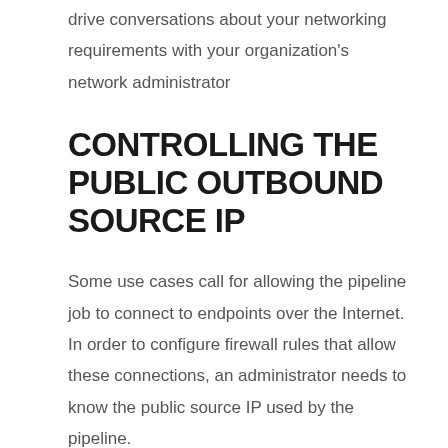drive conversations about your networking requirements with your organization's network administrator
CONTROLLING THE PUBLIC OUTBOUND SOURCE IP
Some use cases call for allowing the pipeline job to connect to endpoints over the Internet. In order to configure firewall rules that allow these connections, an administrator needs to know the public source IP used by the pipeline.
Since the pipeline job runs in a Google-owned project